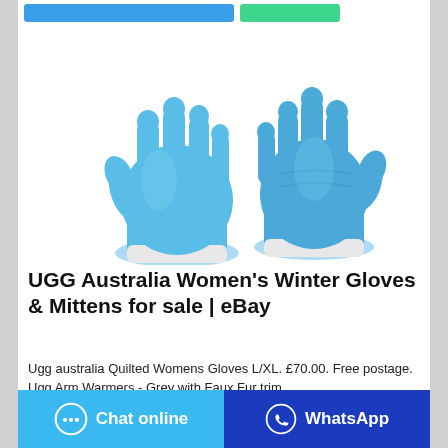[Figure (photo): Two blue rubber/vinyl gloves displayed side by side on a white background. Left glove faces palm-out, right glove faces back-out, both showing all five fingers spread.]
UGG Australia Women's Winter Gloves & Mittens for sale | eBay
Ugg australia Quilted Womens Gloves L/XL. £70.00. Free postage. Ugg Arm Warmers - Grey with Faux Fur trim.